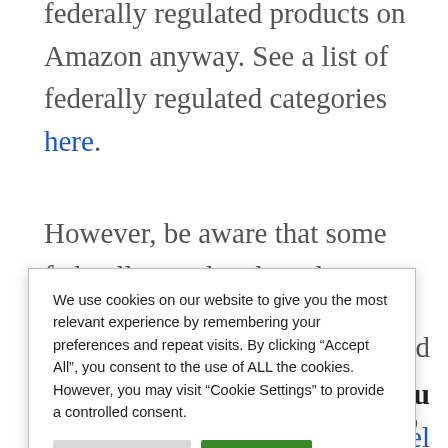federally regulated products on Amazon anyway. See a list of federally regulated categories here.
However, be aware that some federally regulated products are strictly prohibited
We use cookies on our website to give you the most relevant experience by remembering your preferences and repeat visits. By clicking "Accept All", you consent to the use of ALL the cookies. However, you may visit "Cookie Settings" to provide a controlled consent.
can read
el do you
Label
owner like me? Do you want to do Retail